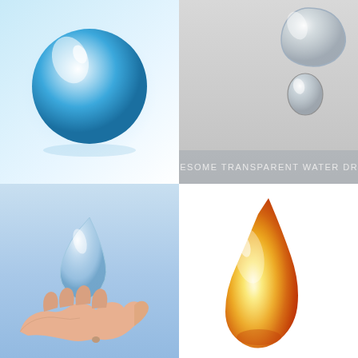[Figure (illustration): Large glossy blue water droplet sphere on light blue/white background]
[Figure (illustration): Two transparent water drops on gray background with text 'AWESOME TRANSPARENT WATER DROP']
[Figure (illustration): Transparent water drop above an open cupped human hand on light blue background]
[Figure (illustration): Golden/amber oil or honey drop on white background]
[Figure (illustration): Many small blue water droplets on teal/blue surface background]
[Figure (illustration): Single transparent water drop on checkered (transparent) background]